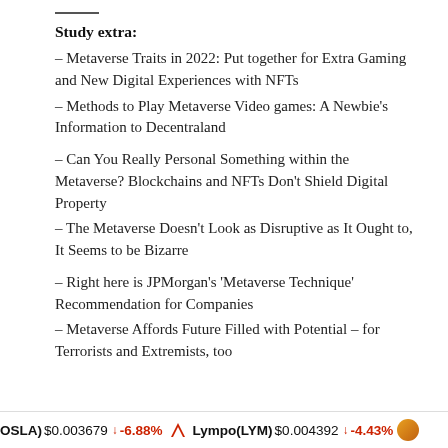Study extra:
– Metaverse Traits in 2022: Put together for Extra Gaming and New Digital Experiences with NFTs
– Methods to Play Metaverse Video games: A Newbie's Information to Decentraland
– Can You Really Personal Something within the Metaverse? Blockchains and NFTs Don't Shield Digital Property
– The Metaverse Doesn't Look as Disruptive as It Ought to, It Seems to be Bizarre
– Right here is JPMorgan's ‘Metaverse Technique’ Recommendation for Companies
– Metaverse Affords Future Filled with Potential – for Terrorists and Extremists, too
(OSLA) $0.003679 ↓ -6.88% Lympo(LYM) $0.004392 ↓ -4.43%